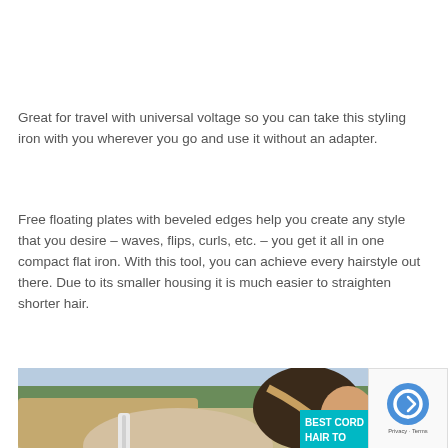Great for travel with universal voltage so you can take this styling iron with you wherever you go and use it without an adapter.
Free floating plates with beveled edges help you create any style that you desire – waves, flips, curls, etc. – you get it all in one compact flat iron. With this tool, you can achieve every hairstyle out there. Due to its smaller housing it is much easier to straighten shorter hair.
[Figure (photo): A woman sitting in a car using a flat iron on her straight dark hair. A teal banner overlay reads 'BEST CORD' and 'HAIR TO' (partially cut off). A reCAPTCHA badge is overlaid in the bottom right corner.]